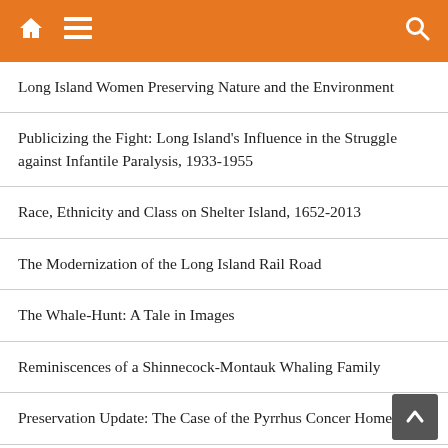Home Menu Search
Long Island Women Preserving Nature and the Environment
Publicizing the Fight: Long Island's Influence in the Struggle against Infantile Paralysis, 1933-1955
Race, Ethnicity and Class on Shelter Island, 1652-2013
The Modernization of the Long Island Rail Road
The Whale-Hunt: A Tale in Images
Reminiscences of a Shinnecock-Montauk Whaling Family
Preservation Update: The Case of the Pyrrhus Concer Homestead
'I Have Seen the Storm Arise': Long Island Whalemens